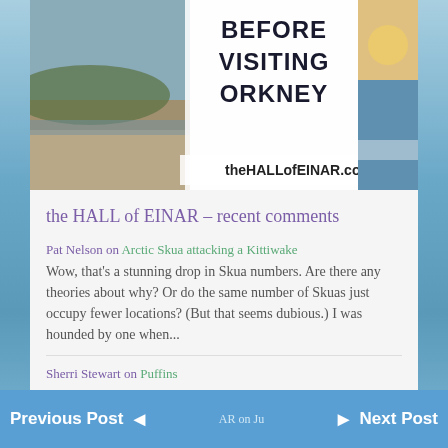[Figure (illustration): Book cover or promotional image for 'Before Visiting Orkney' from theHALLofEINAR.com, showing coastal beach scenes with text overlay]
the HALL of EINAR – recent comments
Pat Nelson on Arctic Skua attacking a Kittiwake
Wow, that's a stunning drop in Skua numbers. Are there any theories about why? Or do the same number of Skuas just occupy fewer locations? (But that seems dubious.) I was hounded by one when...
Sherri Stewart on Puffins
Your photos coming early morn here in Arkansas USA and always make my day a bit better.
Previous Post  ◄  ►  Next Post